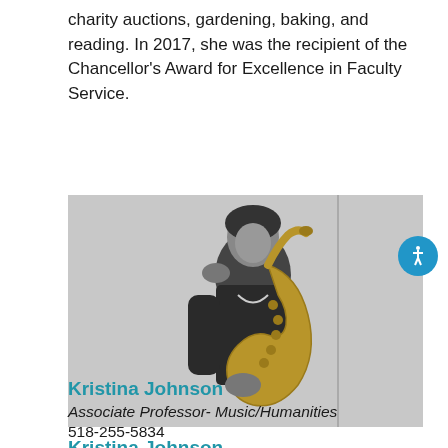charity auctions, gardening, baking, and reading. In 2017, she was the recipient of the Chancellor's Award for Excellence in Faculty Service.
[Figure (photo): Black and white photo of a woman holding a saxophone, dressed in dark clothing, posing against a light background.]
Kristina Johnson
Associate Professor- Music/Humanities
518-255-5834